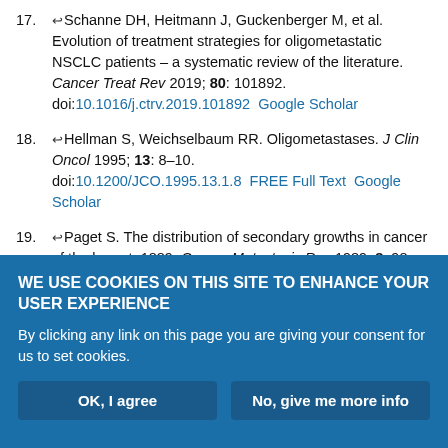17. Schanne DH, Heitmann J, Guckenberger M, et al. Evolution of treatment strategies for oligometastatic NSCLC patients – a systematic review of the literature. Cancer Treat Rev 2019; 80: 101892. doi:10.1016/j.ctrv.2019.101892  Google Scholar
18. Hellman S, Weichselbaum RR. Oligometastases. J Clin Oncol 1995; 13: 8–10. doi:10.1200/JCO.1995.13.1.8  FREE Full Text  Google Scholar
19. Paget S. The distribution of secondary growths in cancer of the breast. 1889. Cancer Metastasis Rev 1989; 8: 98–101.  PubMed  Google Scholar
20. Milano MT, Katz AW, Zhang H, et al. Oligometastases treated with stereotactic body radiotherapy: long-term follow-up of prospective study. Int J Radiat Oncol Biol Phys 2012; 83: 878–886. doi:10.1016/j.ijrobp.2011.09.036  CrossRef  PubMed  Google Scholar
WE USE COOKIES ON THIS SITE TO ENHANCE YOUR USER EXPERIENCE

By clicking any link on this page you are giving your consent for us to set cookies.
OK, I agree    No, give me more info